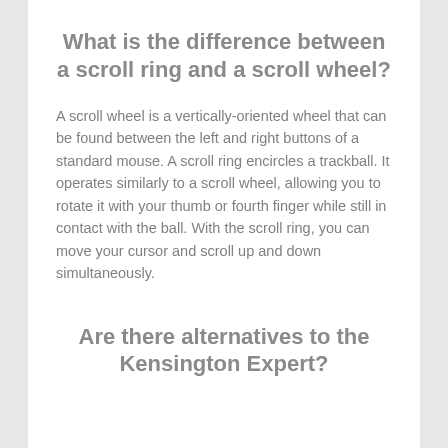What is the difference between a scroll ring and a scroll wheel?
A scroll wheel is a vertically-oriented wheel that can be found between the left and right buttons of a standard mouse. A scroll ring encircles a trackball. It operates similarly to a scroll wheel, allowing you to rotate it with your thumb or fourth finger while still in contact with the ball. With the scroll ring, you can move your cursor and scroll up and down simultaneously.
Are there alternatives to the Kensington Expert?